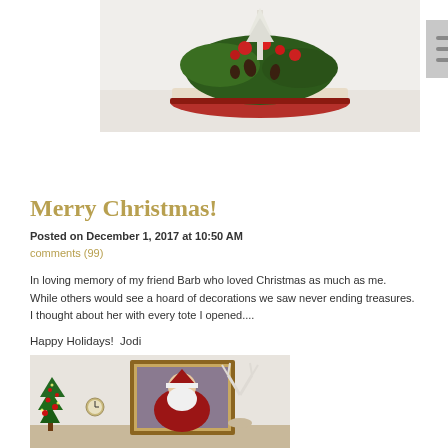[Figure (photo): A Christmas floral centerpiece with greenery, red berries, pinecones, and a small white bottle brush tree on a decorative round base with lace and red trim.]
[Figure (illustration): Menu hamburger icon — three horizontal lines on a gray square background.]
Merry Christmas!
Posted on December 1, 2017 at 10:50 AM
comments (99)
In loving memory of my friend Barb who loved Christmas as much as me.  While others would see a hoard of decorations we saw never ending treasures.  I thought about her with every tote I opened....
Happy Holidays!  Jodi
[Figure (photo): Interior holiday room scene showing a decorated Christmas tree on the left with red ornaments, a Santa Claus portrait painting in the center, a white deer antler decoration on the right, and a clock on the wall.]